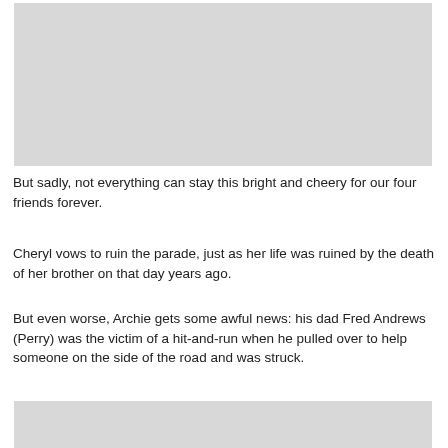[Figure (photo): Gray placeholder image at the top of the page]
But sadly, not everything can stay this bright and cheery for our four friends forever.
Cheryl vows to ruin the parade, just as her life was ruined by the death of her brother on that day years ago.
But even worse, Archie gets some awful news: his dad Fred Andrews (Perry) was the victim of a hit-and-run when he pulled over to help someone on the side of the road and was struck.
[Figure (photo): Gray placeholder image at the bottom of the page]